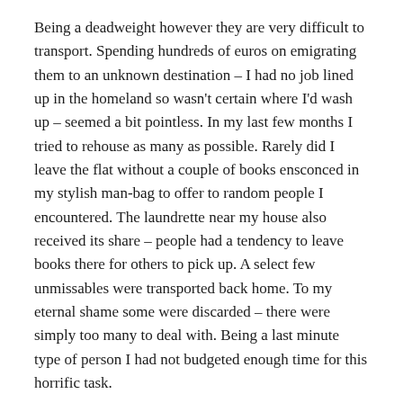Being a deadweight however they are very difficult to transport. Spending hundreds of euros on emigrating them to an unknown destination – I had no job lined up in the homeland so wasn't certain where I'd wash up – seemed a bit pointless. In my last few months I tried to rehouse as many as possible. Rarely did I leave the flat without a couple of books ensconced in my stylish man-bag to offer to random people I encountered. The laundrette near my house also received its share – people had a tendency to leave books there for others to pick up. A select few unmissables were transported back home. To my eternal shame some were discarded – there were simply too many to deal with. Being a last minute type of person I had not budgeted enough time for this horrific task.
My new life in Ireland began – bereft of books. I joined a book club in Limerick upon arrival but never attended, having secured a job in the capital, I moved to Dublin and